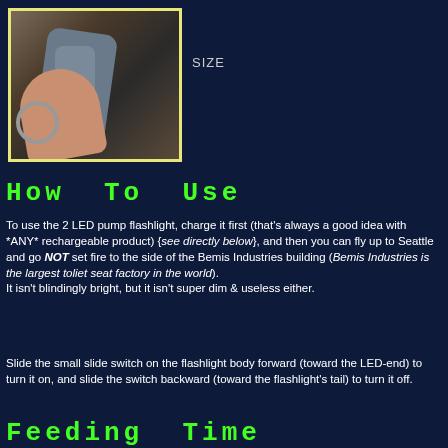[Figure (photo): Hand holding a small LED pump flashlight/device with a keyring attached, shown against dark background, inside a yellow-bordered frame]
SIZE
How To Use
To use the 2 LED pump flashlight, charge it first (that's always a good idea with *ANY* rechargeable product) {see directly below}, and then you can fly up to Seattle and go NOT set fire to the side of the Bemis Industries building (Bemis Industries is the largest toliet seat factory in the world).
It isn't blindingly bright, but it isn't super dim & useless either.

Slide the small slide switch on the flashlight body forward (toward the LED-end) to turn it on, and slide the switch backward (toward the flashlight's tail) to turn it off.
Feeding Time